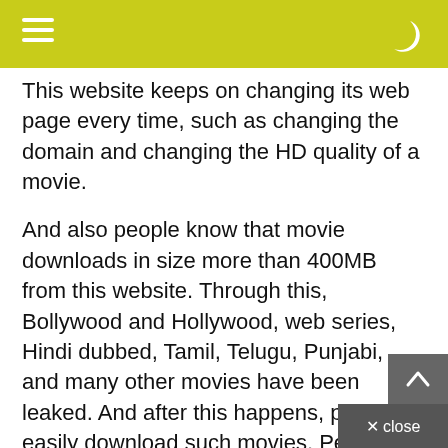This website keeps on changing its web page every time, such as changing the domain and changing the HD quality of a movie.
And also people know that movie downloads in size more than 400MB from this website. Through this, Bollywood and Hollywood, web series, Hindi dubbed, Tamil, Telugu, Punjabi, and many other movies have been leaked. And after this happens, people easily download such movies. People like such a website very much because every person can download such movies from their mobile itself. That too in his own language. Marathi and Bengali movies are also available on this website which people like very